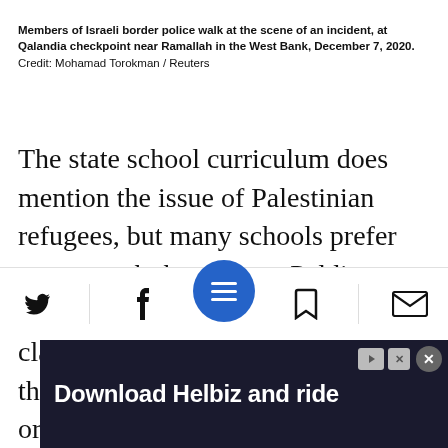Members of Israeli border police walk at the scene of an incident, at Qalandia checkpoint near Ramallah in the West Bank, December 7, 2020.  Credit: Mohamad Torokman / Reuters
The state school curriculum does mention the issue of Palestinian refugees, but many schools prefer not to teach the subject. Paldi says: “Until we talk about the Nakba in class, how it happened that most of the Palestinians who lived here fled or were expelled, or about the theft of their possessions, we won’t understand how much the problem remains part of our lives. This sweeping history
[Figure (screenshot): Bottom navigation bar with Twitter, Facebook, hamburger menu (blue circle), bookmark, and email icons, plus an advertisement banner at the bottom reading 'Download Helbiz and ride']